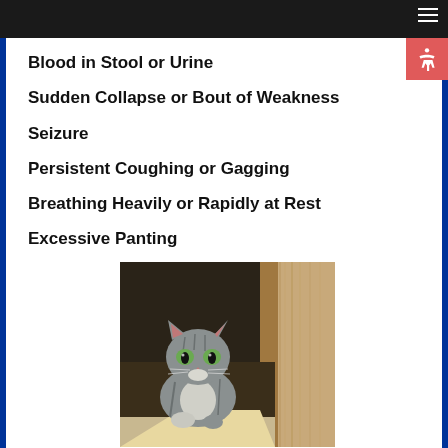Blood in Stool or Urine
Sudden Collapse or Bout of Weakness
Seizure
Persistent Coughing or Gagging
Breathing Heavily or Rapidly at Rest
Excessive Panting
[Figure (photo): A gray tabby cat standing in a doorway or wooden structure, looking directly at the camera]